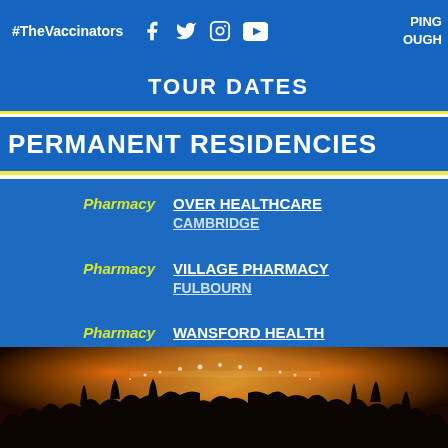#TheVaccinators
TOUR DATES
PERMANENT RESIDENCIES
Pharmacy | OVER HEALTHCARE CAMBRIDGE
Pharmacy | VILLAGE PHARMACY FULBOURN
Pharmacy | WANSFORD HEALTH WANSFORD
Pharmacy | WELFARE PHARMACY TRUMPINGTON
[Figure (photo): Concert crowd silhouette with orange stage lighting and people raising hands]